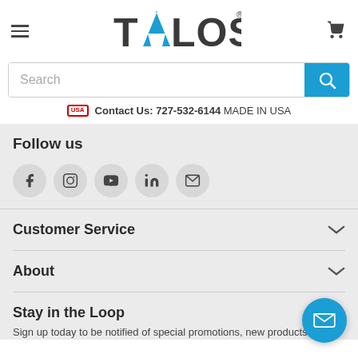[Figure (logo): TALOS logo with blue lightning bolt replacing the letter A, with registered trademark symbol]
Search
Contact Us: 727-532-6144 MADE IN USA
Follow us
[Figure (infographic): Row of social media icons: Facebook, Instagram, YouTube, LinkedIn, Email]
Customer Service
About
Stay in the Loop
Sign up today to be notified of special promotions, new products &